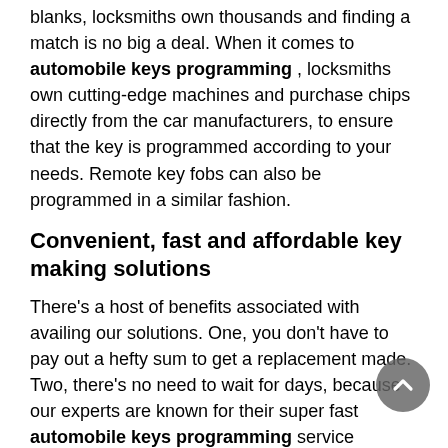blanks, locksmiths own thousands and finding a match is no big a deal. When it comes to automobile keys programming , locksmiths own cutting-edge machines and purchase chips directly from the car manufacturers, to ensure that the key is programmed according to your needs. Remote key fobs can also be programmed in a similar fashion.
Convenient, fast and affordable key making solutions
There's a host of benefits associated with availing our solutions. One, you don't have to pay out a hefty sum to get a replacement made. Two, there's no need to wait for days, because our experts are known for their super fast automobile keys programming service (usually it takes us between 30 minutes to an hour). Three, you don't have to tow your vehicle to our workshop because our workshop comes to you, no matter where you are in Sumner, WA area. We own mobile vans that facilitate the process.